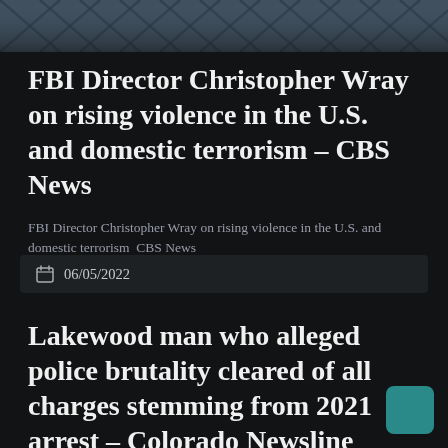[Figure (photo): Chain-link fence or wire mesh background image at the top of the page, partially visible, dark tones with blue-grey sky]
FBI Director Christopher Wray on rising violence in the U.S. and domestic terrorism – CBS News
FBI Director Christopher Wray on rising violence in the U.S. and domestic terrorism  CBS News
06/05/2022
Lakewood man who alleged police brutality cleared of all charges stemming from 2021 arrest – Colorado Newsline